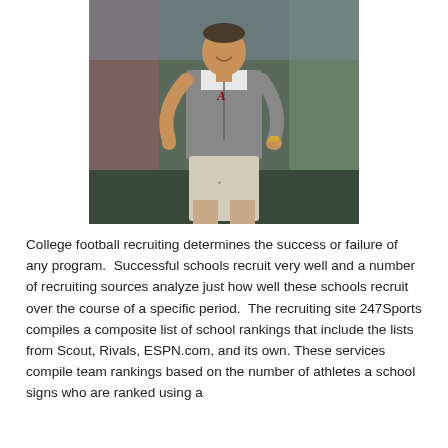[Figure (photo): A football coach wearing a gray Alabama vest with the 'A' logo, white short-sleeve shirt underneath, and white shorts, smiling while walking on a field.]
College football recruiting determines the success or failure of any program.  Successful schools recruit very well and a number of recruiting sources analyze just how well these schools recruit over the course of a specific period.  The recruiting site 247Sports compiles a composite list of school rankings that include the lists from Scout, Rivals, ESPN.com, and its own. These services compile team rankings based on the number of athletes a school signs who are ranked using a